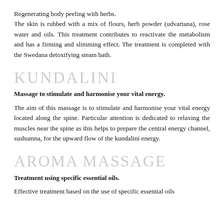Regenerating body peeling with herbs. The skin is rubbed with a mix of flours, herb powder (udvartana), rose water and oils. This treatment contributes to reactivate the metabolism and has a firming and slimming effect. The treatment is completed with the Swedana detoxifying steam bath.
KUNDALINI
Massage to stimulate and harmonise your vital energy.
The aim of this massage is to stimulate and harmonise your vital energy located along the spine. Particular attention is dedicated to relaxing the muscles near the spine as this helps to prepare the central energy channel, sushumna, for the upward flow of the kundalini energy.
AROMA MASSAGE
Treatment using specific essential oils.
Effective treatment based on the use of specific essential oils